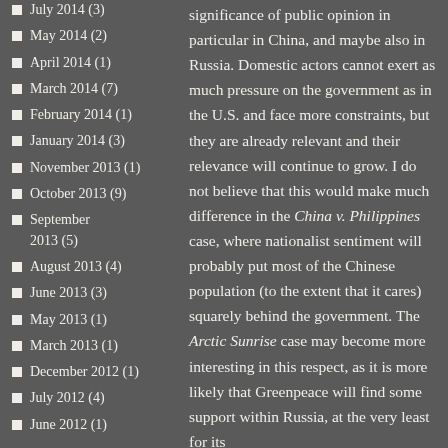July 2014 (3)
May 2014 (2)
April 2014 (1)
March 2014 (7)
February 2014 (1)
January 2014 (3)
November 2013 (1)
October 2013 (9)
September 2013 (5)
August 2013 (4)
June 2013 (3)
May 2013 (1)
March 2013 (1)
December 2012 (1)
July 2012 (4)
June 2012 (1)
significance of public opinion in particular in China, and maybe also in Russia. Domestic actors cannot exert as much pressure on the government as in the U.S. and face more constraints, but they are already relevant and their relevance will continue to grow. I do not believe that this would make much difference in the China v. Philippines case, where nationalist sentiment will probably put most of the Chinese population (to the extent that it cares) squarely behind the government. The Arctic Sunrise case may become more interesting in this respect, as it is more likely that Greenpeace will find some support within Russia, at the very least for its